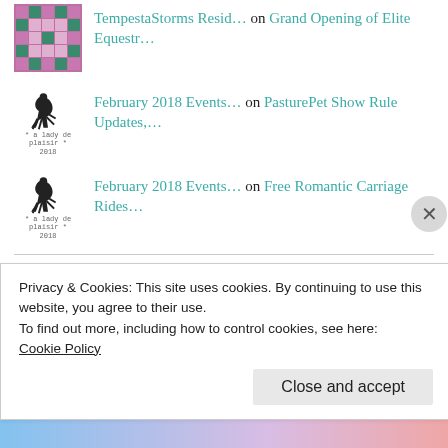TempestaStorms Resid… on Grand Opening of Elite Equestr…
February 2018 Events… on PasturePet Show Rule Updates,…
February 2018 Events… on Free Romantic Carriage Rides…
ARCHIVES
August 2020
Privacy & Cookies: This site uses cookies. By continuing to use this website, you agree to their use.
To find out more, including how to control cookies, see here:
Cookie Policy
Close and accept